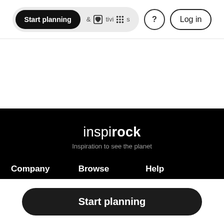Start planning | & Activities | ? | Log in
inspirock
Inspiration to see the planet
Company   Browse   Help
Start planning